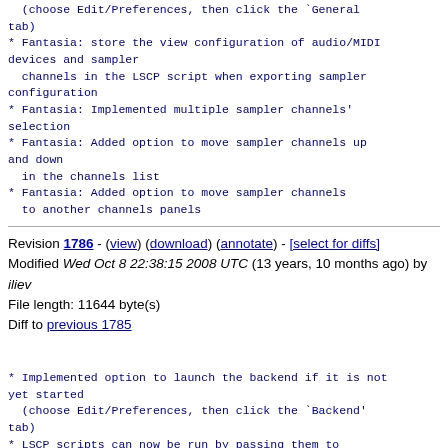(choose Edit/Preferences, then click the `General tab)
* Fantasia: store the view configuration of audio/MIDI devices and sampler
  channels in the LSCP script when exporting sampler configuration
* Fantasia: Implemented multiple sampler channels' selection
* Fantasia: Added option to move sampler channels up and down
  in the channels list
* Fantasia: Added option to move sampler channels
  to another channels panels
Revision 1786 - (view) (download) (annotate) - [select for diffs]
Modified Wed Oct 8 22:38:15 2008 UTC (13 years, 10 months ago) by iliev
File length: 11644 byte(s)
Diff to previous 1785
* Implemented option to launch the backend if it is not yet started
  (choose Edit/Preferences, then click the `Backend' tab)
* LSCP scripts can now be run by passing them to jsampler
  as command-line arguments